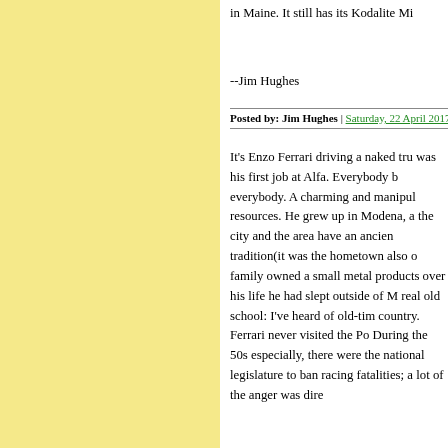in Maine. It still has its Kodalite Mi
--Jim Hughes
Posted by: Jim Hughes | Saturday, 22 April 2017 at 01
It's Enzo Ferrari driving a naked tru was his first job at Alfa. Everybody everybody. A charming and manipul resources. He grew up in Modena, a the city and the area have an ancien tradition(it was the hometown also o family owned a small metal products over his life he had slept outside of N real old school: I've heard of old-tim country. Ferrari never visited the Po During the 50s especially, there wer the national legislature to ban racing fatalities; a lot of the anger was dire